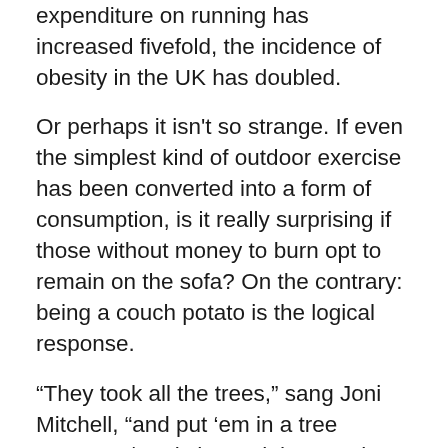expenditure on running has increased fivefold, the incidence of obesity in the UK has doubled.
Or perhaps it isn't so strange. If even the simplest kind of outdoor exercise has been converted into a form of consumption, is it really surprising if those without money to burn opt to remain on the sofa? On the contrary: being a couch potato is the logical response.
“They took all the trees,” sang Joni Mitchell, “and put ‘em in a tree museum,/ And charged the people a dollar-and-a-half just to see ‘em.” It’s much the same with running, except that it will cost you a lot more than a dollar-and-a-half to get yourself kitted out as a proper modern runner; and more still to start running in the way